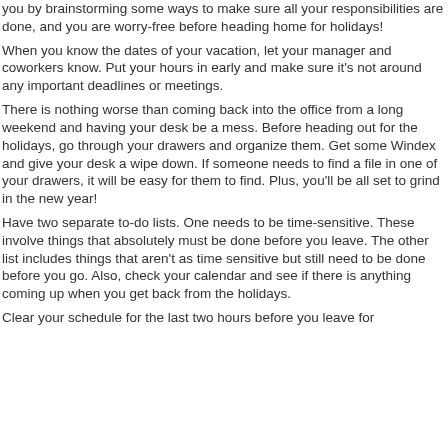you by brainstorming some ways to make sure all your responsibilities are done, and you are worry-free before heading home for holidays!
When you know the dates of your vacation, let your manager and coworkers know. Put your hours in early and make sure it's not around any important deadlines or meetings.
There is nothing worse than coming back into the office from a long weekend and having your desk be a mess. Before heading out for the holidays, go through your drawers and organize them. Get some Windex and give your desk a wipe down. If someone needs to find a file in one of your drawers, it will be easy for them to find. Plus, you'll be all set to grind in the new year!
Have two separate to-do lists. One needs to be time-sensitive. These involve things that absolutely must be done before you leave. The other list includes things that aren't as time sensitive but still need to be done before you go. Also, check your calendar and see if there is anything coming up when you get back from the holidays.
Clear your schedule for the last two hours before you leave for...